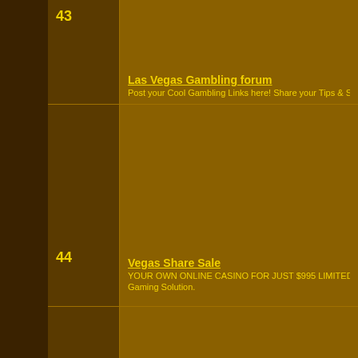43 Las Vegas Gambling forum - Post your Cool Gambling Links here! Share your Tips & Strategies! or find some
44 Vegas Share Sale - YOUR OWN ONLINE CASINO FOR JUST $995 LIMITED TIME OFFER Fully-A Gaming Solution.
45 DANSK SPIL - En verden af spil,hvor du kan spille på alt mellem himmel og jord. Få $1000 i Bo
46 Japan Online Gambling - Receive updates on new casino bonuses special deals and promotions at Japa $100 Free! No deposit required!
47